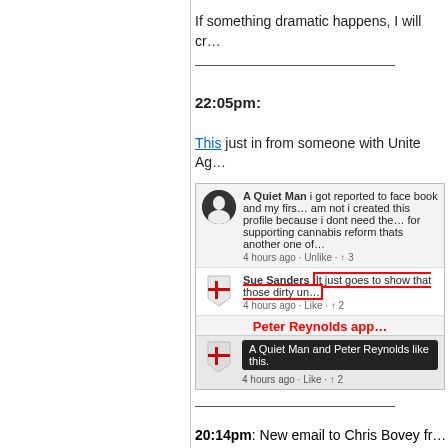If something dramatic happens, I will cr…
22:05pm:
This just in from someone with Unite Ag…
[Figure (screenshot): Facebook comment thread screenshot showing comments from 'A Quiet Man' and 'Sue Sanders', with Peter Reynolds approval tooltip visible.]
20:14pm: New email to Chris Bovey fr…